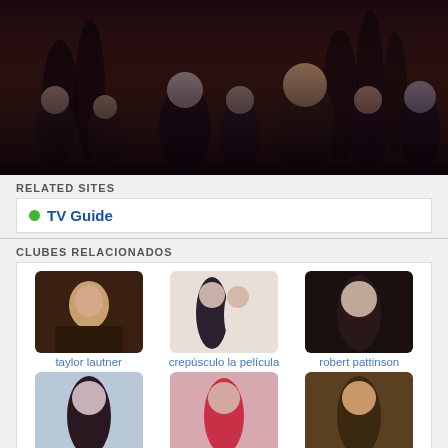[Figure (photo): Twilight movie cast promotional banner photo with multiple characters in dark forest setting]
RELATED SITES
TV Guide
CLUBES RELACIONADOS
[Figure (photo): Taylor Lautner headshot]
taylor lautner
[Figure (photo): Crepúsculo la película - couple in wedding attire]
crepúsculo la película
[Figure (photo): Robert Pattinson headshot]
robert pattinson
[Figure (photo): Edward Cullen headshot]
edward cullen
[Figure (photo): Kristen Stewart headshot]
kristen stewart
[Figure (photo): Jacob Black headshot]
jacob black